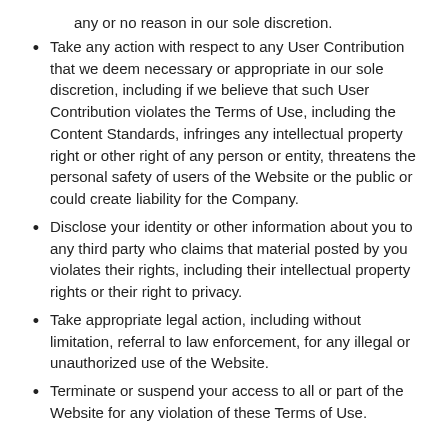any or no reason in our sole discretion.
Take any action with respect to any User Contribution that we deem necessary or appropriate in our sole discretion, including if we believe that such User Contribution violates the Terms of Use, including the Content Standards, infringes any intellectual property right or other right of any person or entity, threatens the personal safety of users of the Website or the public or could create liability for the Company.
Disclose your identity or other information about you to any third party who claims that material posted by you violates their rights, including their intellectual property rights or their right to privacy.
Take appropriate legal action, including without limitation, referral to law enforcement, for any illegal or unauthorized use of the Website.
Terminate or suspend your access to all or part of the Website for any violation of these Terms of Use.